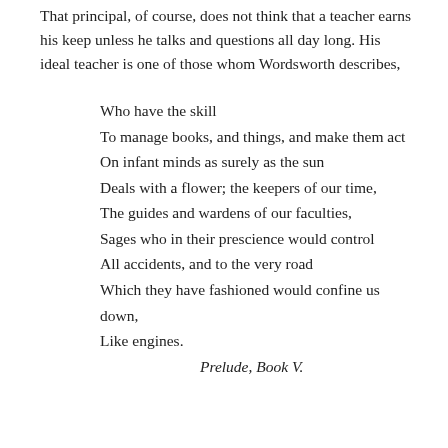That principal, of course, does not think that a teacher earns his keep unless he talks and questions all day long. His ideal teacher is one of those whom Wordsworth describes,
Who have the skill
To manage books, and things, and make them act
On infant minds as surely as the sun
Deals with a flower; the keepers of our time,
The guides and wardens of our faculties,
Sages who in their prescience would control
All accidents, and to the very road
Which they have fashioned would confine us down,
Like engines.
Prelude, Book V.